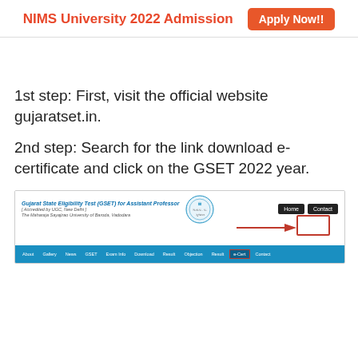NIMS University 2022 Admission  Apply Now!!
1st step: First, visit the official website gujaratset.in.
2nd step: Search for the link download e-certificate and click on the GSET 2022 year.
[Figure (screenshot): Screenshot of the Gujarat State Eligibility Test (GSET) for Assistant Professor website showing the homepage with navigation buttons including Home and Contact, with a red arrow pointing to a highlighted area in the top right, and a blue navigation bar at the bottom.]